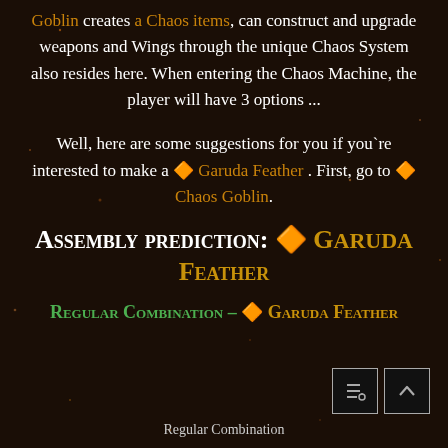Goblin creates a Chaos items, can construct and upgrade weapons and Wings through the unique Chaos System also resides here. When entering the Chaos Machine, the player will have 3 options ...
Well, here are some suggestions for you if you`re interested to make a 🔶 Garuda Feather . First, go to 🔶 Chaos Goblin.
Assembly prediction: 🔶 Garuda Feather
Regular Combination – 🔶 Garuda Feather
[Figure (other): Two small icon buttons (mute and scroll-up) with dark background and light border]
Regular Combination